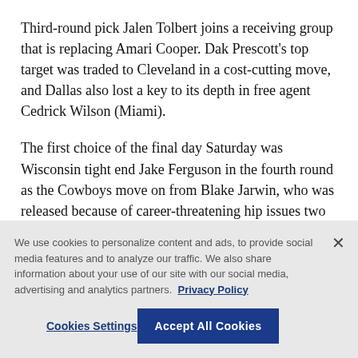Third-round pick Jalen Tolbert joins a receiving group that is replacing Amari Cooper. Dak Prescott's top target was traded to Cleveland in a cost-cutting move, and Dallas also lost a key to its depth in free agent Cedrick Wilson (Miami).
The first choice of the final day Saturday was Wisconsin tight end Jake Ferguson in the fourth round as the Cowboys move on from Blake Jarwin, who was released because of career-threatening hip issues two years after signing a lucrative deal.
We use cookies to personalize content and ads, to provide social media features and to analyze our traffic. We also share information about your use of our site with our social media, advertising and analytics partners. Privacy Policy
Cookies Settings
Accept All Cookies